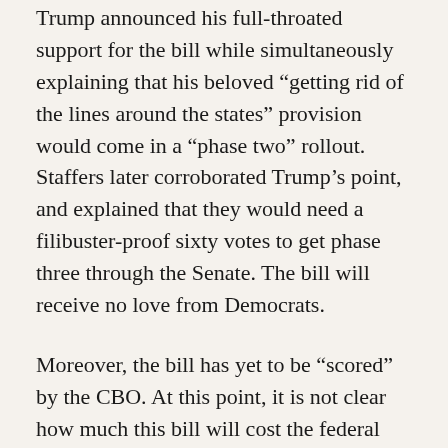Trump announced his full-throated support for the bill while simultaneously explaining that his beloved “getting rid of the lines around the states” provision would come in a “phase two” rollout. Staffers later corroborated Trump’s point, and explained that they would need a filibuster-proof sixty votes to get phase three through the Senate. The bill will receive no love from Democrats.
Moreover, the bill has yet to be “scored” by the CBO. At this point, it is not clear how much this bill will cost the federal government, and how many people are likely to lose coverage. House Republicans begin to plan marking up the bill on Wednesday, perhaps in an attempt to outrun the CBO.